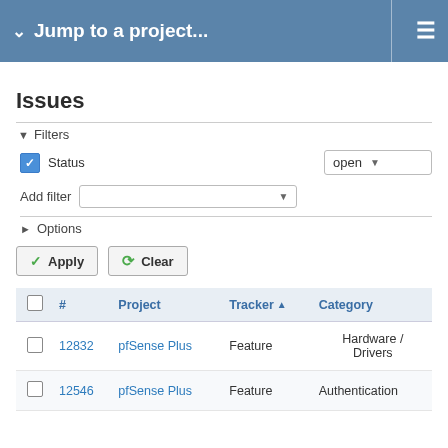Jump to a project...
Issues
Filters
Status  open
Add filter
Options
Apply   Clear
|  | # | Project | Tracker ↑ | Category |
| --- | --- | --- | --- | --- |
|  | 12832 | pfSense Plus | Feature | Hardware / Drivers |
|  | 12546 | pfSense Plus | Feature | Authentication |